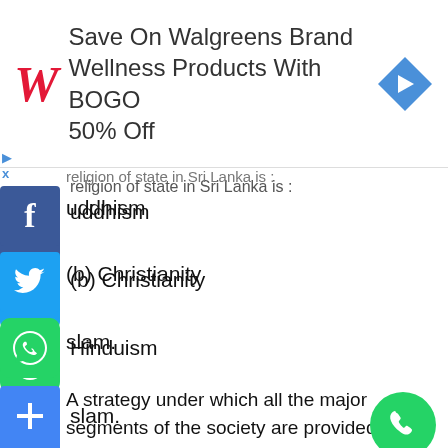[Figure (screenshot): Walgreens ad banner: Save On Walgreens Brand Wellness Products With BOGO 50% Off]
religion of state in Sri Lanka is :
Buddhism
(b) Christianity
Hinduism
slam.
A strategy under which all the major segments of the society are provided with a permanent share of power in the governance of the country is known as:
(a) secularism
(b) power sharing
(c) majoritarianism
(d) minoritism.
26. The majority of the population in Belgium lives in: